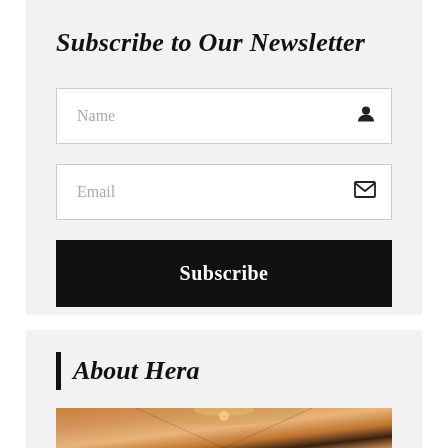Subscribe to Our Newsletter
Name
Email
Subscribe
About Hera
[Figure (photo): Partial view of an ornate interior ceiling with warm golden/amber lighting, architectural details, and decorative elements]